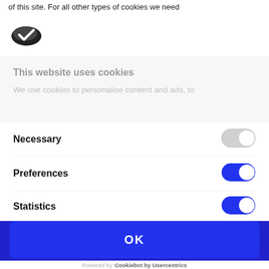of this site. For all other types of cookies we need
[Figure (logo): Cookie icon - dark oval shape with checkmark]
This website uses cookies
We use cookies to personalise content and ads, to
Necessary
[Figure (other): Toggle switch in OFF/grey state for Necessary]
Preferences
[Figure (other): Toggle switch in ON/blue state for Preferences]
Statistics
[Figure (other): Toggle switch in ON/blue state for Statistics (partially visible)]
OK
Powered by Cookiebot by Usercentrics